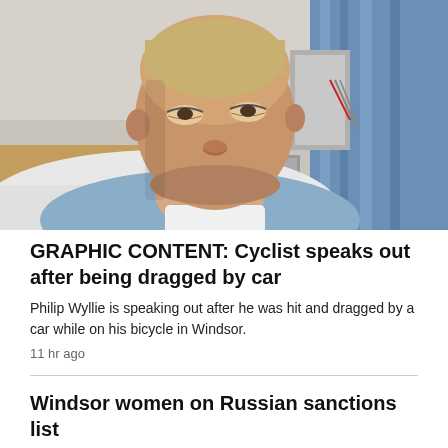[Figure (photo): A man lying in a hospital bed, wearing a blue hospital gown, looking at the camera. Medical equipment and tubing visible in the background.]
GRAPHIC CONTENT: Cyclist speaks out after being dragged by car
Philip Wyllie is speaking out after he was hit and dragged by a car while on his bicycle in Windsor.
11 hr ago
Windsor women on Russian sanctions list
2 hr ago